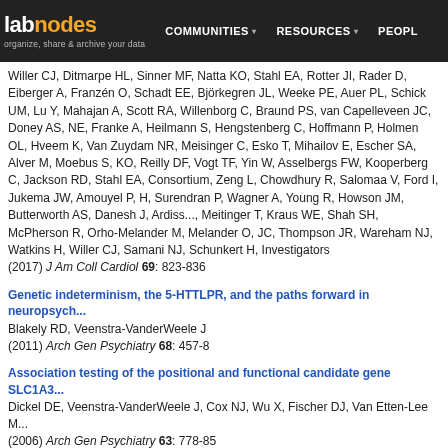labnodes | COMMUNITIES | RESOURCES | PEOPLE
Willer CJ, Ditmarpe HL, Sinner MF, Natta KO, Stahl EA, Rotter JI, Rader D, Eiberger A, Franzén O, Schadt EE, Björkegren JL, Weeke PE, Auer PL, Schick UM, Lu Y, Mahajan A, Scott RA, Willenborg C, Braund PS, van Capelleveen JC, Doney AS, NE, Franke A, Heilmann S, Hengstenberg C, Hoffmann P, Holmen OL, Hveem K, Van Zuydam NR, Meisinger C, Esko T, Mihailov E, Escher SA, Alver M, Moebus S, KO, Reilly DF, Vogt TF, Yin W, Asselbergs FW, Kooperberg C, Jackson RD, Stahl EA, Consortium, Zeng L, Chowdhury R, Salomaa V, Ford I, Jukema JW, Amouyel P, H, Surendran P, Wagner A, Young R, Howson JM, Butterworth AS, Danesh J, Ardissenocini, Meitinger T, Kraus WE, Shah SH, McPherson R, Orho-Melander M, Melander O, JC, Thompson JR, Wareham NJ, Watkins H, Willer CJ, Samani NJ, Schunkert H, Investigators
(2017) J Am Coll Cardiol 69: 823-836
Genetic indeterminism, the 5-HTTLPR, and the paths forward in neuropsychiatry
Blakely RD, Veenstra-VanderWeele J
(2011) Arch Gen Psychiatry 68: 457-8
Association testing of the positional and functional candidate gene SLC1A3
Dickel DE, Veenstra-VanderWeele J, Cox NJ, Wu X, Fischer DJ, Van Etten-Lee M
(2006) Arch Gen Psychiatry 63: 778-85
CYP2C9 allelic variants: ethnic distribution and functional significance.
Xie HG, Prasad HC, Kim RB, Stein CM
(2002) Adv Drug Deliv Rev 54: 1257-70